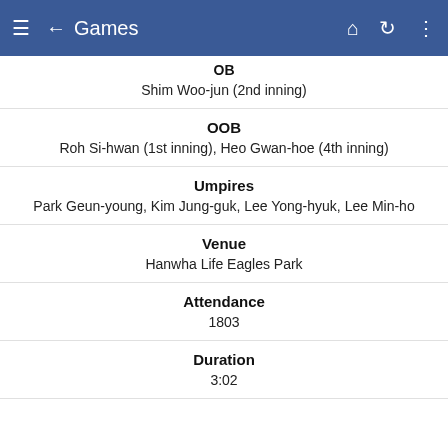Games
OB
Shim Woo-jun (2nd inning)
OOB
Roh Si-hwan (1st inning), Heo Gwan-hoe (4th inning)
Umpires
Park Geun-young, Kim Jung-guk, Lee Yong-hyuk, Lee Min-ho
Venue
Hanwha Life Eagles Park
Attendance
1803
Duration
3:02